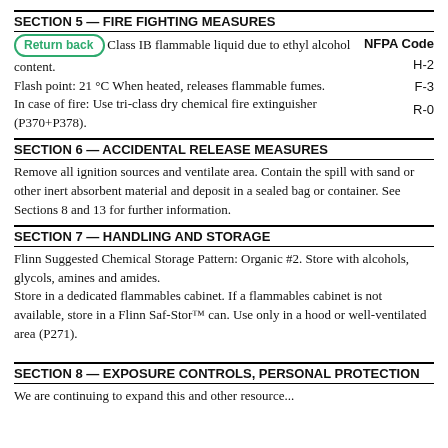SECTION 5 — FIRE FIGHTING MEASURES
Class IB flammable liquid due to ethyl alcohol content.
Flash point: 21 °C When heated, releases flammable fumes.
In case of fire: Use tri-class dry chemical fire extinguisher (P370+P378).
NFPA Code: H-2, F-3, R-0
SECTION 6 — ACCIDENTAL RELEASE MEASURES
Remove all ignition sources and ventilate area. Contain the spill with sand or other inert absorbent material and deposit in a sealed bag or container. See Sections 8 and 13 for further information.
SECTION 7 — HANDLING AND STORAGE
Flinn Suggested Chemical Storage Pattern: Organic #2. Store with alcohols, glycols, amines and amides.
Store in a dedicated flammables cabinet. If a flammables cabinet is not available, store in a Flinn Saf-Stor™ can. Use only in a hood or well-ventilated area (P271).
SECTION 8 — EXPOSURE CONTROLS, PERSONAL PROTECTION
We are continuing to expand this and other resource...